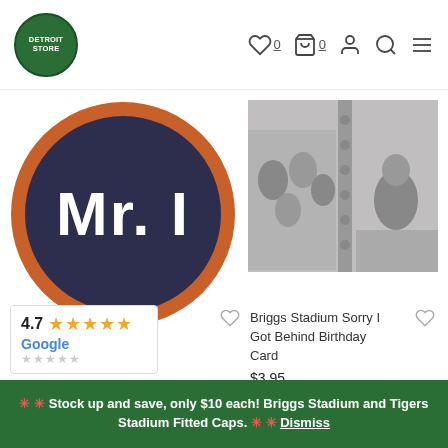Detroit store header with logo and navigation icons (wishlist 0, cart 0, account, search, menu)
[Figure (photo): Circular embroidered patch with dark navy background, orange border, and white block text reading 'Mr. I']
[Figure (photo): Black and white vintage photograph showing baseball stadium interior with fans seated in grandstands]
Detroit Tigers Mr. I Road
4.7 ★★★★★ Google
$14.99
Briggs Stadium Sorry I Got Behind Birthday Card
$3.95
🔸🔸 Stock up and save, only $10 each! Briggs Stadium and Tigers Stadium Fitted Caps. 🔸🔸 Dismiss